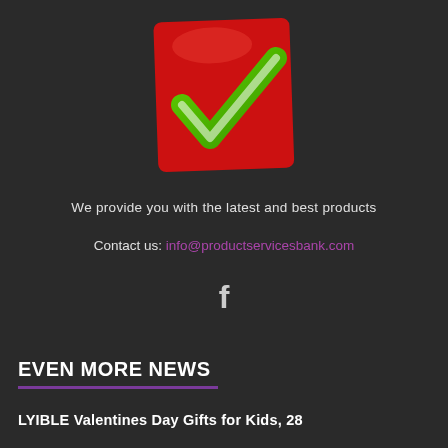[Figure (logo): Red diamond/shield shape with a green checkmark inside, logo of productservicesbank]
We provide you with the latest and best products
Contact us: info@productservicesbank.com
[Figure (illustration): Facebook icon (lowercase f)]
EVEN MORE NEWS
LYIBLE Valentines Day Gifts for Kids, 28